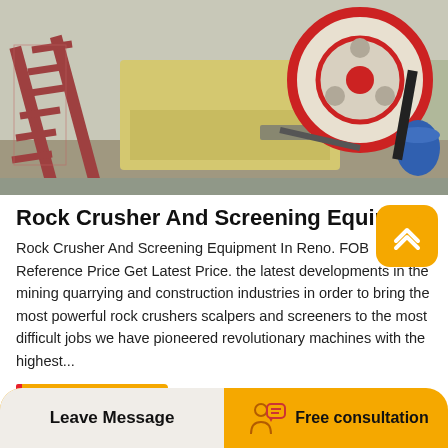[Figure (photo): Industrial rock crusher and screening equipment outdoors, showing a red metal staircase/ladder on the left, a large red and white flywheel/pulley on the right, and yellow/cream colored crusher body in the center, set in an outdoor industrial yard.]
Rock Crusher And Screening Equipment In Reno
Rock Crusher And Screening Equipment In Reno. FOB Reference Price Get Latest Price. the latest developments in the mining quarrying and construction industries in order to bring the most powerful rock crushers scalpers and screeners to the most difficult jobs we have pioneered revolutionary machines with the highest...
Read More
Leave Message
Free consultation